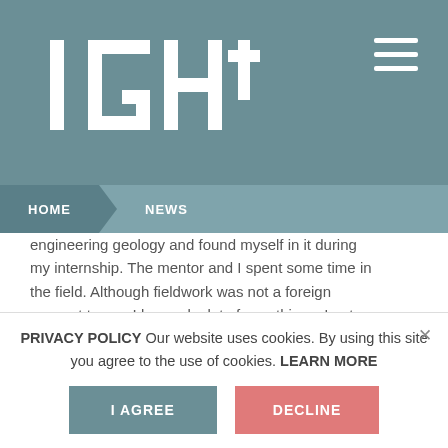[Figure (logo): IGH logo in white on teal/steel blue header background with hamburger menu icon]
HOME   NEWS
engineering geology and found myself in it during my internship. The mentor and I spent some time in the field. Although fieldwork was not a foreign concept to me, I learned a lot of new things. I got additional ideas on how to interpret the data collected in the field. A big plus of this practice was the opportunity to gain responsibility for what you do and participate in teamwork with colleagues from the department and gain experience that is very important when hiring.
PRIVACY POLICY Our website uses cookies. By using this site you agree to the use of cookies. LEARN MORE
I AGREE   DECLINE